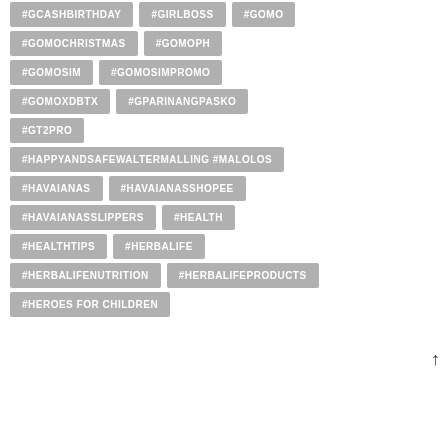#GCASHBIRTHDAY
#GIRLBOSS
#GOMO
#GOMOCHRISTMAS
#GOMOPH
#GOMOSIM
#GOMOSIMPROMO
#GOMOXDBTX
#GPARINANGPASKO
#GT2PRO
#HAPPYANDSAFEWALTERMALLING #MALOLOS
#HAVAIANAS
#HAVAIANASSHOPEE
#HAVAIANASSLIPPERS
#HEALTH
#HEALTHTIPS
#HERBALIFE
#HERBALIFENUTRITION
#HERBALIFEPRODUCTS
#HEROES FOR CHILDREN